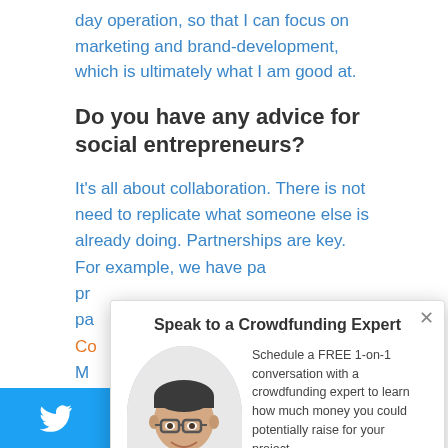day operation, so that I can focus on marketing and brand-development, which is ultimately what I am good at.
Do you have any advice for social entrepreneurs?
It's all about collaboration. There is not need to replicate what someone else is already doing. Partnerships are key.   For example, we have pa… pr… pa… Co… M… pr…
[Figure (other): Modal popup titled 'Speak to a Crowdfunding Expert' with a photo of a man wearing glasses and a purple shirt, text 'Schedule a FREE 1-on-1 conversation with a crowdfunding expert to learn how much money you could potentially raise for your project.' and an orange button 'Schedule a FREE 1-on-1 Call'. A close (×) button is in the top right corner.]
[Figure (logo): Twitter bird logo icon on a blue background bar at bottom left]